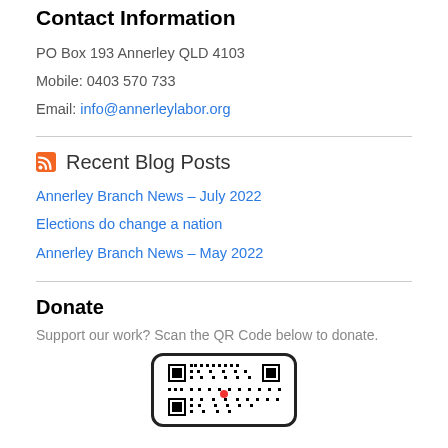Contact Information
PO Box 193 Annerley QLD 4103
Mobile: 0403 570 733
Email: info@annerleylabor.org
Recent Blog Posts
Annerley Branch News – July 2022
Elections do change a nation
Annerley Branch News – May 2022
Donate
Support our work? Scan the QR Code below to donate.
[Figure (other): QR code for donation]